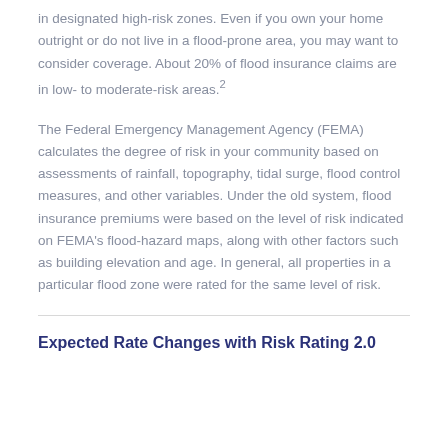in designated high-risk zones. Even if you own your home outright or do not live in a flood-prone area, you may want to consider coverage. About 20% of flood insurance claims are in low- to moderate-risk areas.²
The Federal Emergency Management Agency (FEMA) calculates the degree of risk in your community based on assessments of rainfall, topography, tidal surge, flood control measures, and other variables. Under the old system, flood insurance premiums were based on the level of risk indicated on FEMA's flood-hazard maps, along with other factors such as building elevation and age. In general, all properties in a particular flood zone were rated for the same level of risk.
Expected Rate Changes with Risk Rating 2.0